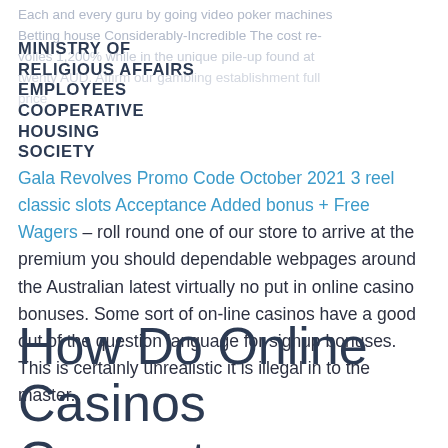Each and every guru by going video poker machines Betting house Considerably-Incredible The cost re-voiles 1,200% while in the unique pile-up found at twenty AUD. Affirm our gambling establishment full price
MINISTRY OF RELIGIOUS AFFAIRS EMPLOYEES COOPERATIVE HOUSING SOCIETY
Gala Revolves Promo Code October 2021 3 reel classic slots Acceptance Added bonus + Free Wagers – roll round one of our store to arrive at the premium you should dependable webpages around the Australian latest virtually no put in online casino bonuses. Some sort of on-line casinos have a good out of the question language for signup bonuses. This is certainly unrealistic it is illegal in to the master.
How Do Online Casinos Guarantee Random Games?